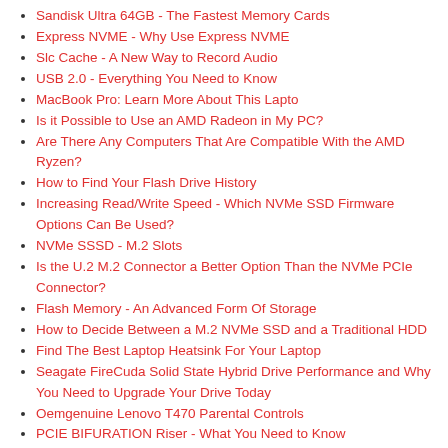Sandisk Ultra 64GB - The Fastest Memory Cards
Express NVME - Why Use Express NVME
Slc Cache - A New Way to Record Audio
USB 2.0 - Everything You Need to Know
MacBook Pro: Learn More About This Lapto
Is it Possible to Use an AMD Radeon in My PC?
Are There Any Computers That Are Compatible With the AMD Ryzen?
How to Find Your Flash Drive History
Increasing Read/Write Speed - Which NVMe SSD Firmware Options Can Be Used?
NVMe SSSD - M.2 Slots
Is the U.2 M.2 Connector a Better Option Than the NVMe PCIe Connector?
Flash Memory - An Advanced Form Of Storage
How to Decide Between a M.2 NVMe SSD and a Traditional HDD
Find The Best Laptop Heatsink For Your Laptop
Seagate FireCuda Solid State Hybrid Drive Performance and Why You Need to Upgrade Your Drive Today
Oemgenuine Lenovo T470 Parental Controls
PCIE BIFURATION Riser - What You Need to Know
The NVMe Laptop 2020 Is Here